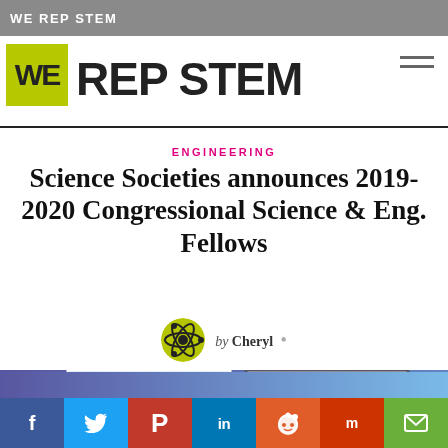WE REP STEM
WE REP STEM
ENGINEERING
Science Societies announces 2019-2020 Congressional Science & Eng. Fellows
by Cheryl •
[Figure (photo): Two portrait photos of fellows on a purple-blue gradient background]
Social share bar: Facebook, Twitter, Pinterest, LinkedIn, Reddit, Mix, Email